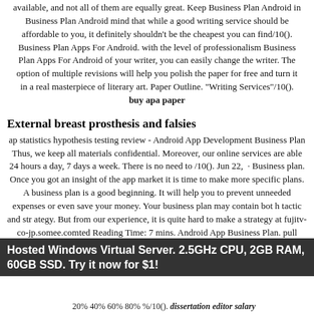available, and not all of them are equally great. Keep Business Plan Android in Business Plan Android mind that while a good writing service should be affordable to you, it definitely shouldn't be the cheapest you can find/10(). Business Plan Apps For Android. with the level of professionalism Business Plan Apps For Android of your writer, you can easily change the writer. The option of multiple revisions will help you polish the paper for free and turn it in a real masterpiece of literary art. Paper Outline. "Writing Services"/10(). buy apa paper
External breast prosthesis and falsies
ap statistics hypothesis testing review - Android App Development Business Plan Thus, we keep all materials confidential. Moreover, our online services are able 24 hours a day, 7 days a week. There is no need to /10(). Jun 22,  · Business plan. Once you got an insight of the app market it is time to make more specific plans. A business plan is a good beginning. It will help you to prevent unneeded expenses or even save your money. Your business plan may contain bot h tactic and str ategy. But from our experience, it is quite hard to make a strategy at fujitv-co-jp.somee.comted Reading Time: 7 mins. Android App Business Plan. pull research paper
Hosted Windows Virtual Server. 2.5GHz CPU, 2GB RAM, 60GB SSD. Try it now for $1!
20% 40% 60% 80% %/10(). dissertation editor salary